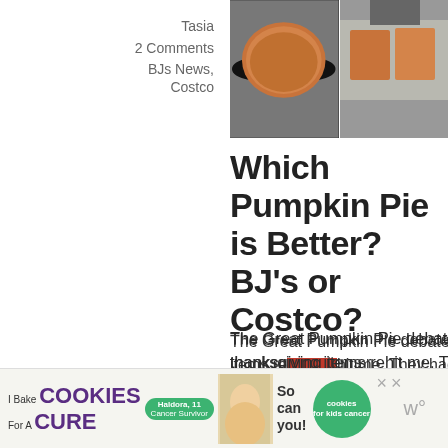Tasia
2 Comments
BJs News, Costco
[Figure (photo): Two photos side by side: left shows a large pumpkin pie in a dark pan, right shows a store display of pumpkin pies with a person in background]
Which Pumpkin Pie is Better? BJ's or Costco?
The Great Pumpkin Pie debate. Since becoming a Costco member in April this year the thanksgiving items really hit me. They had quite a selection of different things than ...
30
[Figure (photo): Partial image of what appears to be copper-toned baking pans or similar kitchen items]
[Figure (infographic): Advertisement banner: I Bake COOKIES For A CURE - Haldora, 11 Cancer Survivor - So can you! - cookies for kids cancer logo]